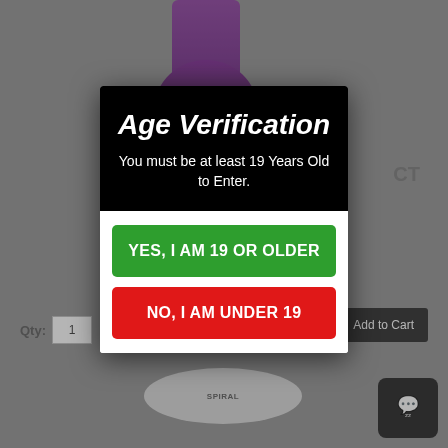[Figure (screenshot): Age verification modal dialog overlay on a product page. Background shows a purple bong/water pipe product on a grey e-commerce page with 'CT' text visible, Qty field, and Add to Cart button. A black and white modal dialog is centered with age verification prompt and two buttons.]
Age Verification
You must be at least 19 Years Old to Enter.
YES, I AM 19 OR OLDER
NO, I AM UNDER 19